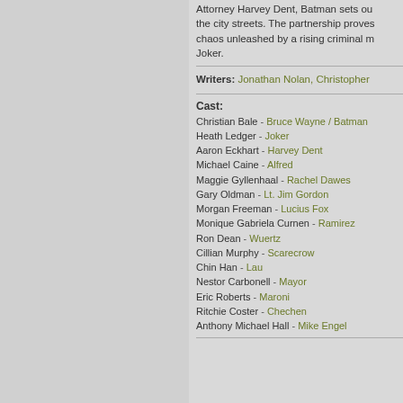Attorney Harvey Dent, Batman sets out the city streets. The partnership proves chaos unleashed by a rising criminal m Joker.
Writers: Jonathan Nolan, Christopher
Cast:
Christian Bale - Bruce Wayne / Batman
Heath Ledger - Joker
Aaron Eckhart - Harvey Dent
Michael Caine - Alfred
Maggie Gyllenhaal - Rachel Dawes
Gary Oldman - Lt. Jim Gordon
Morgan Freeman - Lucius Fox
Monique Gabriela Curnen - Ramirez
Ron Dean - Wuertz
Cillian Murphy - Scarecrow
Chin Han - Lau
Nestor Carbonell - Mayor
Eric Roberts - Maroni
Ritchie Coster - Chechen
Anthony Michael Hall - Mike Engel